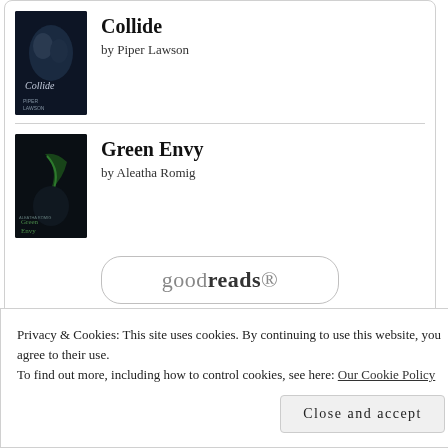[Figure (illustration): Book cover for 'Collide' by Piper Lawson — dark cover with couple embracing]
Collide
by Piper Lawson
[Figure (illustration): Book cover for 'Green Envy' by Aleatha Romig — dark cover with green design]
Green Envy
by Aleatha Romig
[Figure (logo): Goodreads button/logo with rounded rectangle border]
Privacy & Cookies: This site uses cookies. By continuing to use this website, you agree to their use.
To find out more, including how to control cookies, see here: Our Cookie Policy
Close and accept